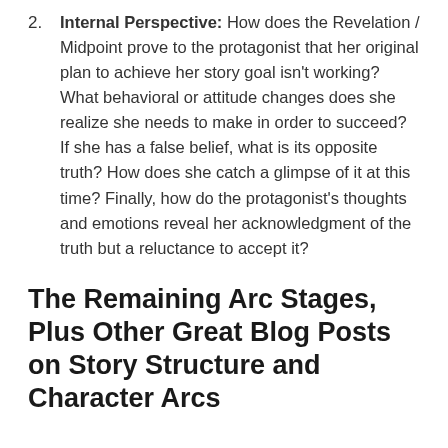Internal Perspective: How does the Revelation / Midpoint prove to the protagonist that her original plan to achieve her story goal isn't working? What behavioral or attitude changes does she realize she needs to make in order to succeed? If she has a false belief, what is its opposite truth? How does she catch a glimpse of it at this time? Finally, how do the protagonist's thoughts and emotions reveal her acknowledgment of the truth but a reluctance to accept it?
The Remaining Arc Stages, Plus Other Great Blog Posts on Story Structure and Character Arcs